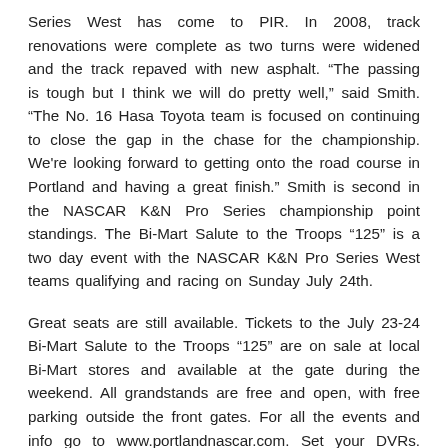Series West has come to PIR. In 2008, track renovations were complete as two turns were widened and the track repaved with new asphalt. “The passing is tough but I think we will do pretty well,” said Smith. “The No. 16 Hasa Toyota team is focused on continuing to close the gap in the chase for the championship. We're looking forward to getting onto the road course in Portland and having a great finish.” Smith is second in the NASCAR K&N Pro Series championship point standings. The Bi-Mart Salute to the Troops “125” is a two day event with the NASCAR K&N Pro Series West teams qualifying and racing on Sunday July 24th.
Great seats are still available. Tickets to the July 23-24 Bi-Mart Salute to the Troops “125” are on sale at local Bi-Mart stores and available at the gate during the weekend. All grandstands are free and open, with free parking outside the front gates. For all the events and info go to www.portlandnascar.com. Set your DVRs. The NKNP West Series race from Toyota Speedway on Thursday July 21st and the race from Evergreen Speedway on Thursday July 28th.